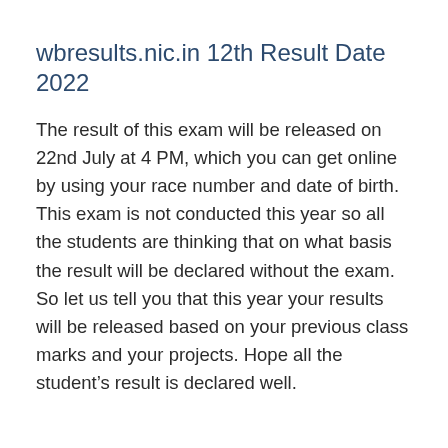wbresults.nic.in 12th Result Date 2022
The result of this exam will be released on 22nd July at 4 PM, which you can get online by using your race number and date of birth. This exam is not conducted this year so all the students are thinking that on what basis the result will be declared without the exam. So let us tell you that this year your results will be released based on your previous class marks and your projects. Hope all the student’s result is declared well.